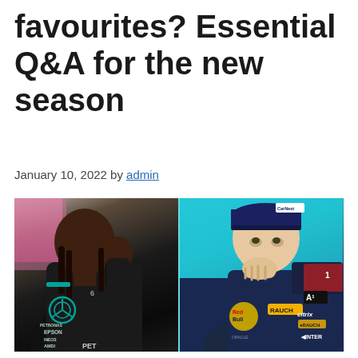favourites? Essential Q&A for the new season
January 10, 2022 by admin
[Figure (photo): Two F1 drivers side by side: left half shows Lewis Hamilton in Mercedes/Epson/AMD black jacket with hand raised near face; right half shows Max Verstappen in Red Bull/CarNext navy jacket with hand on chin, thoughtful pose.]